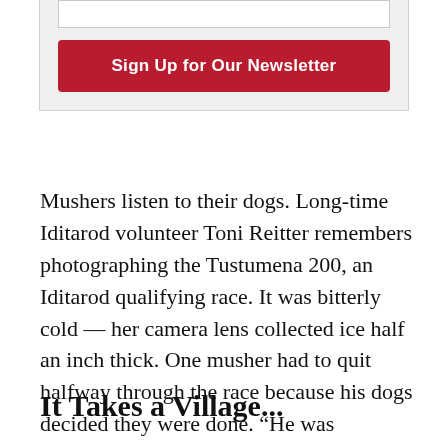[Figure (other): Newsletter sign-up widget with an email input bar and a red 'Sign Up for Our Newsletter' button, on a light gray background with border.]
Mushers listen to their dogs. Long-time Iditarod volunteer Toni Reitter remembers photographing the Tustumena 200, an Iditarod qualifying race. It was bitterly cold — her camera lens collected ice half an inch thick. One musher had to quit halfway through the race because his dogs decided they were done. “He was bummed, but the dogs being happy is what gets mushers across the finish line,” she said.
It Takes a Village...